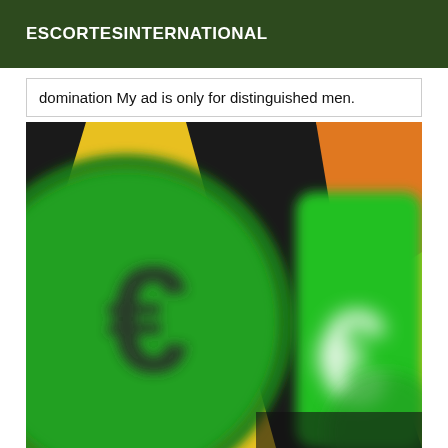ESCORTESINTERNATIONAL
domination My ad is only for distinguished men.
[Figure (photo): Close-up blurred image of colorful currency symbols (euro signs) on green, yellow, orange, and black background, suggesting money or financial theme.]